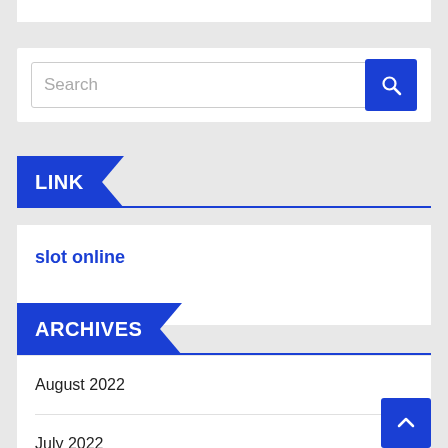[Figure (screenshot): Search widget with text input placeholder 'Search' and blue search button with magnifying glass icon]
LINK
slot online
ARCHIVES
August 2022
July 2022